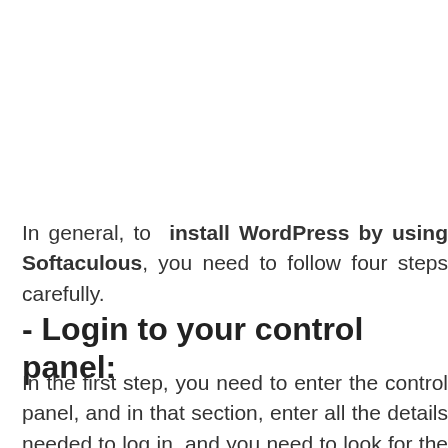In general, to install WordPress by using Softaculous, you need to follow four steps carefully.
- Login to your control panel:
In the first step, you need to enter the control panel, and in that section, enter all the details needed to log in, and you need to look for the Softaculous icon